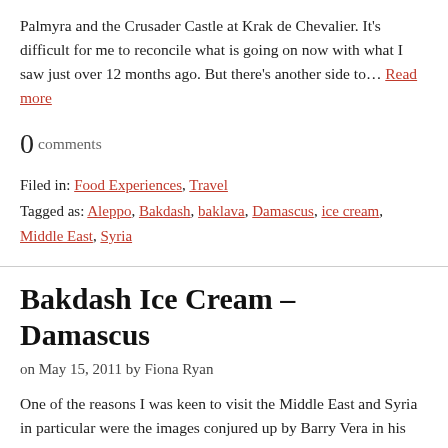Palmyra and the Crusader Castle at Krak de Chevalier. It's difficult for me to reconcile what is going on now with what I saw just over 12 months ago. But there's another side to… Read more
0 comments
Filed in: Food Experiences, Travel
Tagged as: Aleppo, Bakdash, baklava, Damascus, ice cream, Middle East, Syria
Bakdash Ice Cream – Damascus
on May 15, 2011 by Fiona Ryan
One of the reasons I was keen to visit the Middle East and Syria in particular were the images conjured up by Barry Vera in his